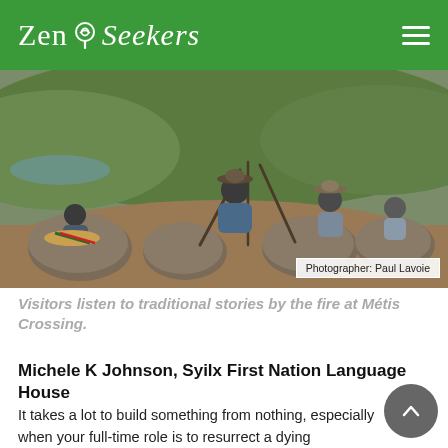Zen Seekers
[Figure (photo): Group of people sitting on large rocks in a field, listening to traditional stories by a fire at Métis Crossing. A river and green hills are visible in the background.]
Photographer: Paul Lavoie
Visitors listen to traditional stories by the fire at Métis Crossing.
Michele K Johnson, Syilx First Nation Language House
It takes a lot to build something from nothing, especially when your full-time role is to resurrect a dying language. I met Michele on the slopes of